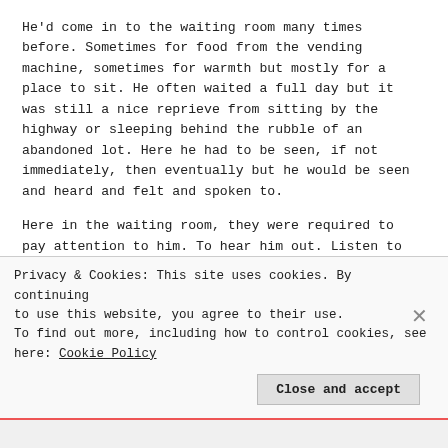He'd come in to the waiting room many times before. Sometimes for food from the vending machine, sometimes for warmth but mostly for a place to sit. He often waited a full day but it was still a nice reprieve from sitting by the highway or sleeping behind the rubble of an abandoned lot. Here he had to be seen, if not immediately, then eventually but he would be seen and heard and felt and spoken to.
Here in the waiting room, they were required to pay attention to him. To hear him out. Listen to him speak and speak back. Here he would be counted among the living, even if just before they died. There would be a record of him, no matter how [partial, the numbers of his blood pressure were...]
Privacy & Cookies: This site uses cookies. By continuing to use this website, you agree to their use.
To find out more, including how to control cookies, see here: Cookie Policy